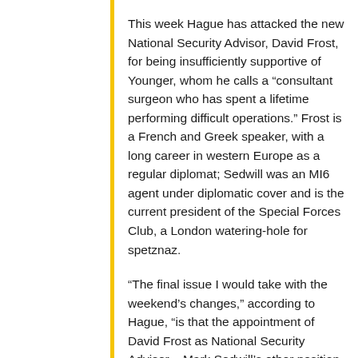This week Hague has attacked the new National Security Advisor, David Frost, for being insufficiently supportive of Younger, whom he calls a “consultant surgeon who has spent a lifetime performing difficult operations.” Frost is a French and Greek speaker, with a long career in western Europe as a regular diplomat; Sedwill was an MI6 agent under diplomatic cover and is the current president of the Special Forces Club, a London watering-hole for spetznaz.
“The final issue I would take with the weekend’s changes,” according to Hague, “is that the appointment of David Frost as National Security Adviser – Mark Sedwill’s other position – sits uneasily with Michael Gove’s desire that top officials should be ‘as knowledgeable as a consultant surgeon’ about their areas of responsibility. Mr Frost is clearly very capable and has impressed the Prime Minister – there should indeed be a serious role for him. But out